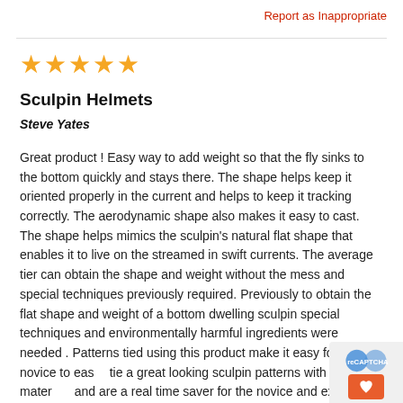Report as Inappropriate
[Figure (other): Five gold star rating]
Sculpin Helmets
Steve Yates
Great product ! Easy way to add weight so that the fly sinks to the bottom quickly and stays there. The shape helps keep it oriented properly in the current and helps to keep it tracking correctly. The aerodynamic shape also makes it easy to cast. The shape helps mimics the sculpin's natural flat shape that enables it to live on the streamed in swift currents. The average tier can obtain the shape and weight without the mess and special techniques previously required. Previously to obtain the flat shape and weight of a bottom dwelling sculpin special techniques and environmentally harmful ingredients were needed . Patterns tied using this product make it easy for the novice to easily tie a great looking sculpin patterns with just a few materials and are a real time saver for the novice and expert alike.